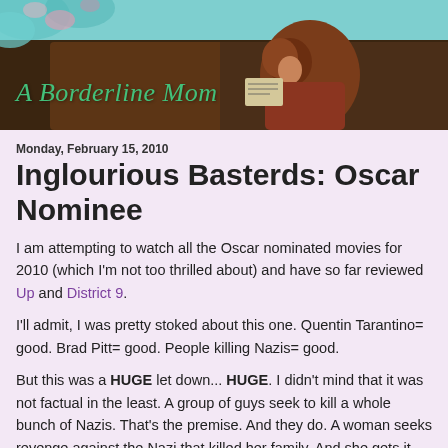[Figure (photo): Blog header banner showing a Pre-Raphaelite style painting of a woman with auburn hair writing or reading, with teal/cyan decorative floral overlay at top. Blog title 'A Borderline Mom' in green italic cursive over the image.]
A Borderline Mom
Monday, February 15, 2010
Inglourious Basterds: Oscar Nominee
I am attempting to watch all the Oscar nominated movies for 2010 (which I'm not too thrilled about) and have so far reviewed Up and District 9.
I'll admit, I was pretty stoked about this one. Quentin Tarantino= good. Brad Pitt= good. People killing Nazis= good.
But this was a HUGE let down... HUGE. I didn't mind that it was not factual in the least. A group of guys seek to kill a whole bunch of Nazis. That's the premise. And they do. A woman seeks revenge against the Nazi that killed her family. And she gets it- kinda. Sure, the storytelling beyond that...